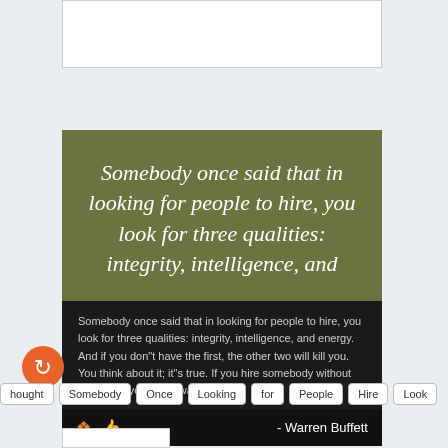[Figure (screenshot): Top portion of a white card/widget with grid lines visible at the top, partially cropped]
[Figure (infographic): Quote card with olive/dark green background showing italic white text of Warren Buffett quote about three qualities for hiring: integrity, intelligence, and energy. Below is a dark background with the full quote text and a footer with share/like icons and attribution '- Warren Buffett']
Somebody once said that in looking for people to hire, you look for three qualities: integrity, intelligence, and energy. And if you don"t have the first, the other two will kill you. You think about it; it"s true. If you hire somebody without [integrity], you really want them
- Warren Buffett
hought | Somebody | Once | Looking | for | People | Hire | Look